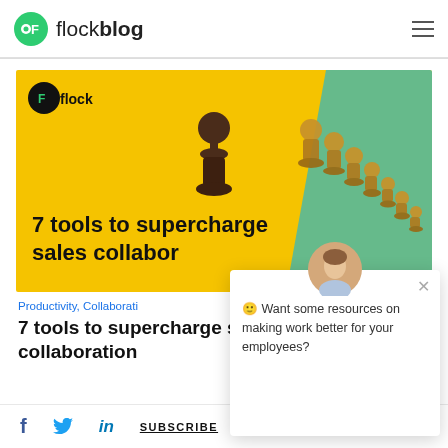flockblog
[Figure (illustration): Yellow background blog hero image with chess pieces (dark pawn in center, wooden pawns on right), flock logo top-left, text '7 tools to supercharge sales collaboration']
Productivity, Collaboration
7 tools to supercharge sales collaboration
[Figure (infographic): Chat popup overlay with avatar of woman, close button, text 'Want some resources on making work better for your employees?']
f  Twitter  in  SUBSCRIBE